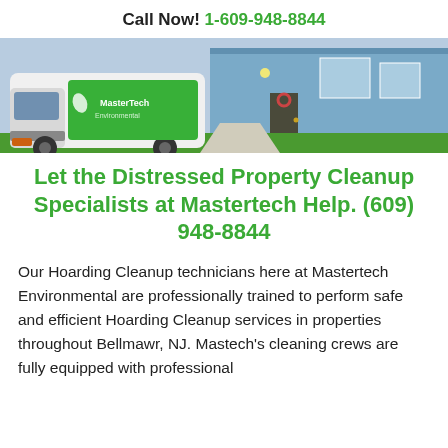Call Now! 1-609-948-8844
[Figure (photo): A Mastertech Environmental branded white and blue van parked in front of a residential suburban home with green lawn and flower beds.]
Let the Distressed Property Cleanup Specialists at Mastertech Help. (609) 948-8844
Our Hoarding Cleanup technicians here at Mastertech Environmental are professionally trained to perform safe and efficient Hoarding Cleanup services in properties throughout Bellmawr, NJ. Mastech's cleaning crews are fully equipped with professional